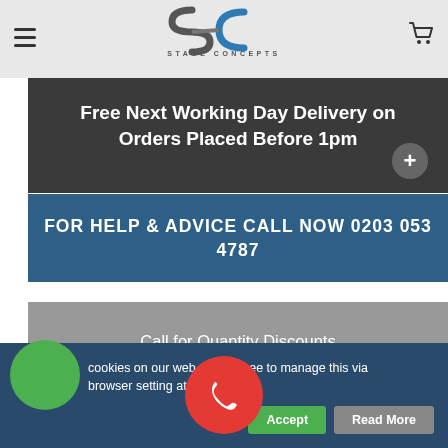[Figure (logo): Stage Concepts logo with stylized SC letters and blue/grey gradient, with 'STAGE CONCEPTS' text below]
Free Next Working Day Delivery on Orders Placed Before 1pm
FOR HELP & ADVICE CALL NOW 0203 053 4787
Call for Quantity Discounts
Description
cookies on our web are free to manage this via browser setting at . Accept Read More